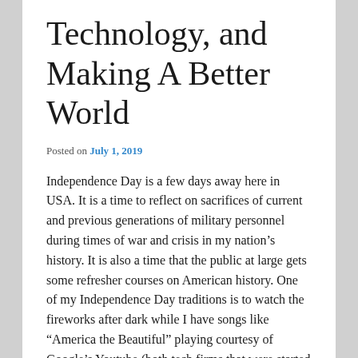Technology, and Making A Better World
Posted on July 1, 2019
Independence Day is a few days away here in USA.  It is a time to reflect on sacrifices of current and previous generations of military personnel during times of war and crisis in my nation’s history.  It is also a time that the public at large gets some refresher courses on American history.  One of my Independence Day traditions is to watch the fireworks after dark while I have songs like “America the Beautiful” playing courtesy of Google’s Youtube (both tech firms that were started in the USA).
While it is a celebration of the USA’s beginnings and...